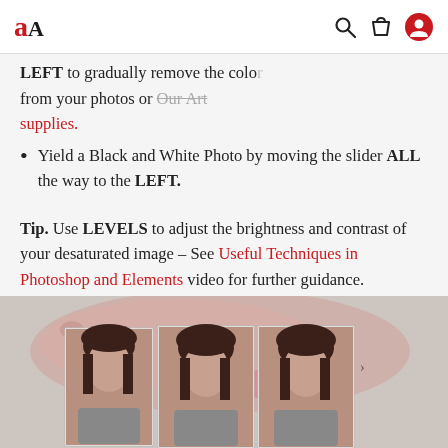aA [logo] with search, bag, user icons
from your photos or Our Art supplies.
Yield a Black and White Photo by moving the slider ALL the way to the LEFT.
Tip. Use LEVELS to adjust the brightness and contrast of your desaturated image – See Useful Techniques in Photoshop and Elements video for further guidance.
[Figure (photo): Photo collage showing multiple portrait photos of a woman with dark hair, overlaid on a pink watercolor wash background with small red heart decorations]